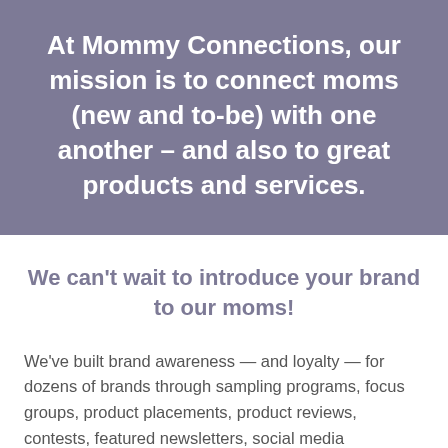At Mommy Connections, our mission is to connect moms (new and to-be) with one another – and also to great products and services.
We can't wait to introduce your brand to our moms!
We've built brand awareness — and loyalty — for dozens of brands through sampling programs, focus groups, product placements, product reviews, contests, featured newsletters, social media engagement, events and more.